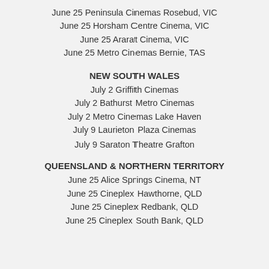June 25 Peninsula Cinemas Rosebud, VIC
June 25 Horsham Centre Cinema, VIC
June 25 Ararat Cinema, VIC
June 25 Metro Cinemas Bernie, TAS
NEW SOUTH WALES
July 2 Griffith Cinemas
July 2 Bathurst Metro Cinemas
July 2 Metro Cinemas Lake Haven
July 9 Laurieton Plaza Cinemas
July 9 Saraton Theatre Grafton
QUEENSLAND & NORTHERN TERRITORY
June 25 Alice Springs Cinema, NT
June 25 Cineplex Hawthorne, QLD
June 25 Cineplex Redbank, QLD
June 25 Cineplex South Bank, QLD